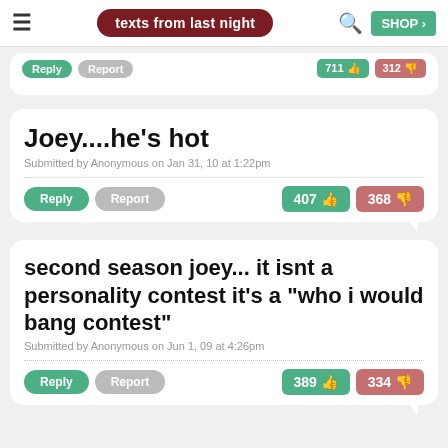texts from last night
Joey....he's hot
Submitted by Anonymous on Jan 31, 10 at 1:22pm
407 thumbs up · 368 thumbs down
second season joey... it isnt a personality contest it's a "who i would bang contest"
Submitted by Anonymous on Jun 1, 09 at 4:26pm
389 thumbs up · 334 thumbs down